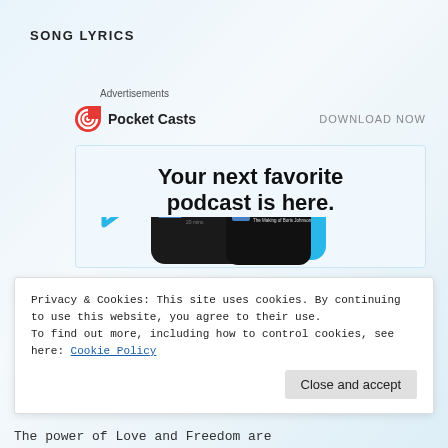SONG LYRICS
Advertisements
[Figure (screenshot): Pocket Casts advertisement banner with logo, 'DOWNLOAD NOW' link, tagline 'Your next favorite podcast is here.' and phone screenshots showing 'Up Next' podcast queue interface]
Privacy & Cookies: This site uses cookies. By continuing to use this website, you agree to their use.
To find out more, including how to control cookies, see here: Cookie Policy
Close and accept
The power of Love and Freedom are